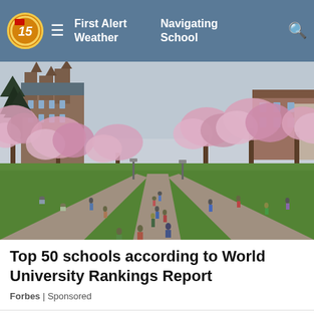First Alert Weather  Navigating School
[Figure (photo): University campus with cherry blossom trees in bloom, students walking and lounging on the quad, with a Gothic-style building visible in the background]
Top 50 schools according to World University Rankings Report
Forbes | Sponsored